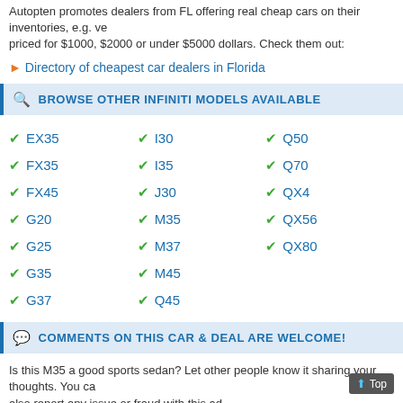Autopten promotes dealers from FL offering real cheap cars on their inventories, e.g. vehicles priced for $1000, $2000 or under $5000 dollars. Check them out:
▶ Directory of cheapest car dealers in Florida
BROWSE OTHER INFINITI MODELS AVAILABLE
EX35
I30
Q50
FX35
I35
Q70
FX45
J30
QX4
G20
M35
QX56
G25
M37
QX80
G35
M45
G37
Q45
COMMENTS ON THIS CAR & DEAL ARE WELCOME!
Is this M35 a good sports sedan? Let other people know it sharing your thoughts. You can also report any issue or fraud with this ad.